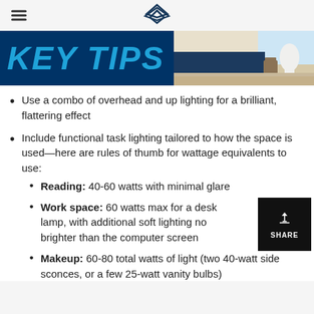KEY TIPS
[Figure (photo): Banner with 'KEY TIPS' text in blue italic on dark navy background, with a photo of a bright dining/kitchen area on the right side]
Use a combo of overhead and up lighting for a brilliant, flattering effect
Include functional task lighting tailored to how the space is used—here are rules of thumb for wattage equivalents to use:
Reading: 40-60 watts with minimal glare
Work space: 60 watts max for a desk lamp, with additional soft lighting no brighter than the computer screen
Makeup: 60-80 total watts of light (two 40-watt side sconces, or a few 25-watt vanity bulbs)